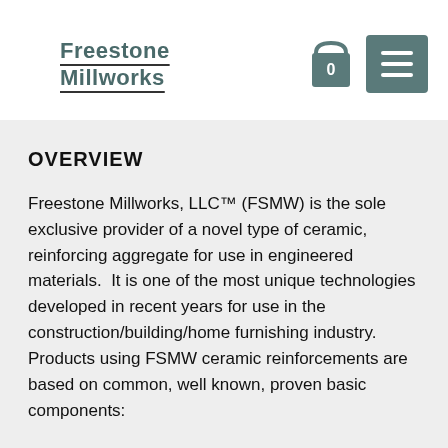Freestone Millworks
OVERVIEW
Freestone Millworks, LLC™ (FSMW) is the sole exclusive provider of a novel type of ceramic, reinforcing aggregate for use in engineered materials.  It is one of the most unique technologies developed in recent years for use in the construction/building/home furnishing industry. Products using FSMW ceramic reinforcements are based on common, well known, proven basic components: